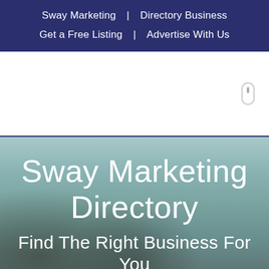Sway Marketing  |  Directory Business
Get a Free Listing  |  Advertise With Us
[Figure (screenshot): White section with scroll indicator icon on right side]
Sway Marketing Directory
Find The Right Business For You